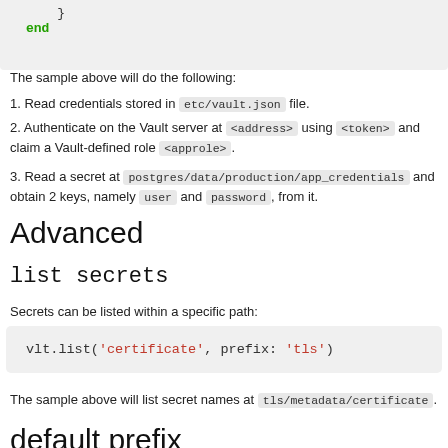[Figure (screenshot): Code block showing closing brace and 'end' keyword in green monospace font on gray background]
The sample above will do the following:
1. Read credentials stored in etc/vault.json file.
2. Authenticate on the Vault server at <address> using <token> and claim a Vault-defined role <approle>.
3. Read a secret at postgres/data/production/app_credentials and obtain 2 keys, namely user and password, from it.
Advanced
list secrets
Secrets can be listed within a specific path:
[Figure (screenshot): Code block: vlt.list('certificate', prefix: 'tls')]
The sample above will list secret names at tls/metadata/certificate.
default prefix